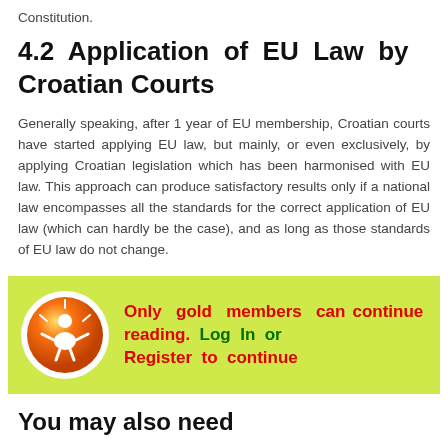Constitution.
4.2 Application of EU Law by Croatian Courts
Generally speaking, after 1 year of EU membership, Croatian courts have started applying EU law, but mainly, or even exclusively, by applying Croatian legislation which has been harmonised with EU law. This approach can produce satisfactory results only if a national law encompasses all the standards for the correct application of EU law (which can hardly be the case), and as long as those standards of EU law do not change.
[Figure (infographic): Orange circle icon with a person and rays, on a lime-green background box. Text reads: Only gold members can continue reading. Log In or Register to continue]
You may also need